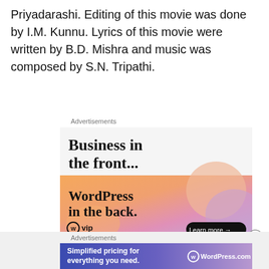Priyadarashi. Editing of this movie was done by I.M. Kunnu. Lyrics of this movie were written by B.D. Mishra and music was composed by S.N. Tripathi.
Advertisements
[Figure (screenshot): WordPress VIP advertisement banner showing 'Business in the front...' in grey area and 'WordPress in the back.' with WP VIP logo and Learn more button on colorful gradient background]
Advertisements
[Figure (screenshot): WordPress.com advertisement banner showing 'Simplified pricing for everything you need.' with WordPress.com logo on blue/purple gradient background]